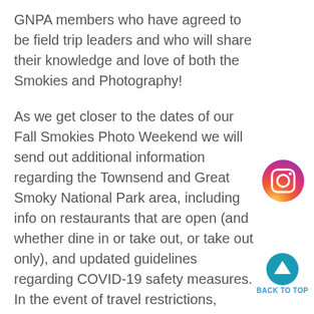GNPA members who have agreed to be field trip leaders and who will share their knowledge and love of both the Smokies and Photography!
As we get closer to the dates of our Fall Smokies Photo Weekend we will send out additional information regarding the Townsend and Great Smoky National Park area, including info on restaurants that are open (and whether dine in or take out, or take out only), and updated guidelines regarding COVID-19 safety measures. In the event of travel restrictions, National Park closing, or stay at home requirements, GNPA will make a decision on whether to cancel the event.  Also, our normal guidelines for cancellations will be more flexible during this pandemic time.
[Figure (logo): Instagram icon — circular gradient (pink/purple/orange) with camera outline]
[Figure (other): Back to Top button — teal circle with upward arrow, label BACK TO TOP]